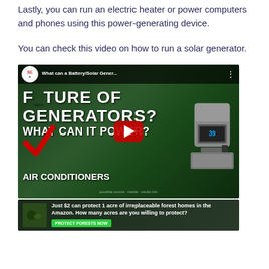Lastly, you can run an electric heater or power computers and phones using this power-generating device.
You can check this video on how to run a solar generator.
[Figure (screenshot): YouTube video thumbnail titled 'What can a Battery/Solar Gener...' and 'FUTURE OF GENERATORS? WHAT CAN IT POWER?' showing a solar generator device, checkmark, play button, and text 'AIR CONDITIONERS'. Below is an advertisement banner: 'Just $2 can protect 1 acre of irreplaceable forest homes in the Amazon. How many acres are you willing to protect?']